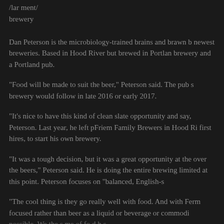/lar ment/
brewery
Dan Peterson is the microbiology-trained brains and brawn be newest breweries. Based in Hood River but brewed in Portlan brewery and a Portland pub.
“Food will be made to suit the beer,” Peterson said. The pub s brewery would follow in late 2016 or early 2017.
“It’s nice to have this kind of clean slate opportunity and say, Peterson. Last year, he left pFriem Family Brewers in Hood Ri first hires, to start his own brewery.
“It was a tough decision, but it was a great opportunity at the over the beers,” Peterson said. He is doing the entire brewing limited at this point. Peterson focuses on “balanced, English-s
“The cool thing is they go really well with food. And with Ferm focused rather than beer as a liquid or beverage or commodi possible. We the s me of fo d h s...